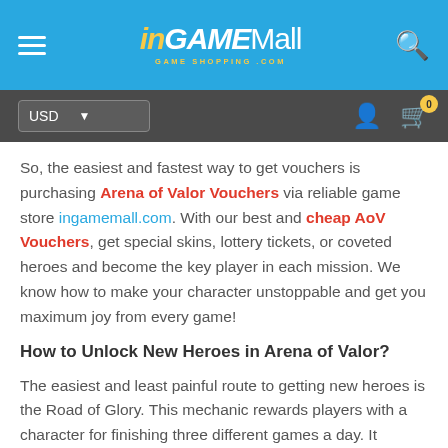InGameMall - Game Shopping
So, the easiest and fastest way to get vouchers is purchasing Arena of Valor Vouchers via reliable game store ingamemall.com. With our best and cheap AoV Vouchers, get special skins, lottery tickets, or coveted heroes and become the key player in each mission. We know how to make your character unstoppable and get you maximum joy from every game!
How to Unlock New Heroes in Arena of Valor?
The easiest and least painful route to getting new heroes is the Road of Glory. This mechanic rewards players with a character for finishing three different games a day. It doesn't matter whether you win or lose these games, as long as you see them through till the end. Road of Glory also counts any of Casual or Ranked Match game modes. However, Custom matches, bot matches, and any game that you are not